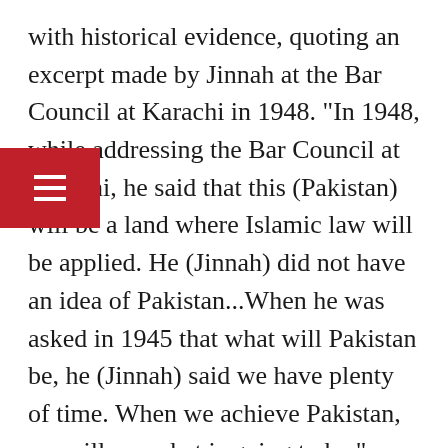with historical evidence, quoting an excerpt made by Jinnah at the Bar Council at Karachi in 1948. "In 1948, while addressing the Bar Council at Karachi, he said that this (Pakistan) will be a land where Islamic law will be applied. He (Jinnah) did not have an idea of Pakistan...When he was asked in 1945 that what will Pakistan be, he (Jinnah) said we have plenty of time. When we achieve Pakistan, we will see what is going to be," Hoodbhoy said.
He continued, "There was nothing about how you would get rid of the jagidaris. There was absolutely no mention at all that Pakistan would be a federation or a non-federation. There's nothing on that. How would Pakistan survive in a